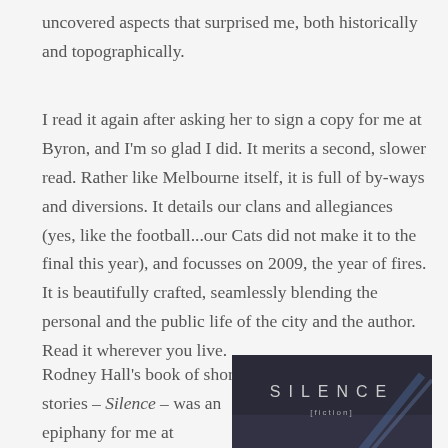uncovered aspects that surprised me, both historically and topographically.
I read it again after asking her to sign a copy for me at Byron, and I'm so glad I did. It merits a second, slower read. Rather like Melbourne itself, it is full of by-ways and diversions. It details our clans and allegiances (yes, like the football...our Cats did not make it to the final this year), and focusses on 2009, the year of fires. It is beautifully crafted, seamlessly blending the personal and the public life of the city and the author. Read it wherever you live.
Rodney Hall's book of short stories – Silence – was an epiphany for me at
[Figure (photo): Book cover of 'Silence' by Rodney Hall — dark background with stylized text 'SILENCE' and subtitle '[fiction]']